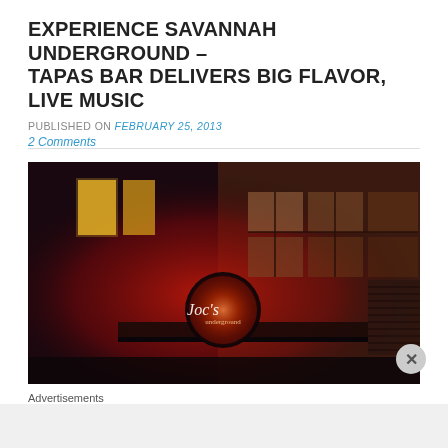EXPERIENCE SAVANNAH UNDERGROUND – TAPAS BAR DELIVERS BIG FLAVOR, LIVE MUSIC
PUBLISHED ON February 25, 2013
2 Comments
[Figure (photo): Nighttime exterior photo of a bar/restaurant building with red neon lighting and a circular illuminated sign reading 'Savannah Underground'. Brick building facade with windows lit in yellow and red. Dark moody atmosphere.]
Advertisements